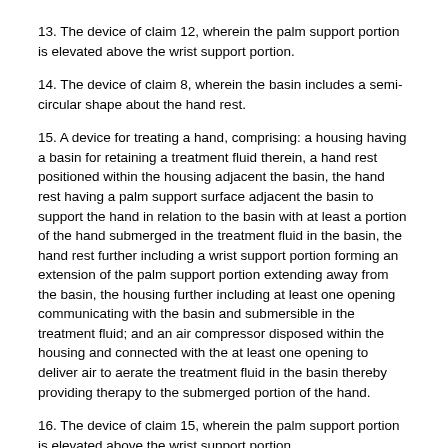13. The device of claim 12, wherein the palm support portion is elevated above the wrist support portion.
14. The device of claim 8, wherein the basin includes a semi-circular shape about the hand rest.
15. A device for treating a hand, comprising: a housing having a basin for retaining a treatment fluid therein, a hand rest positioned within the housing adjacent the basin, the hand rest having a palm support surface adjacent the basin to support the hand in relation to the basin with at least a portion of the hand submerged in the treatment fluid in the basin, the hand rest further including a wrist support portion forming an extension of the palm support portion extending away from the basin, the housing further including at least one opening communicating with the basin and submersible in the treatment fluid; and an air compressor disposed within the housing and connected with the at least one opening to deliver air to aerate the treatment fluid in the basin thereby providing therapy to the submerged portion of the hand.
16. The device of claim 15, wherein the palm support portion is elevated above the wrist support portion.